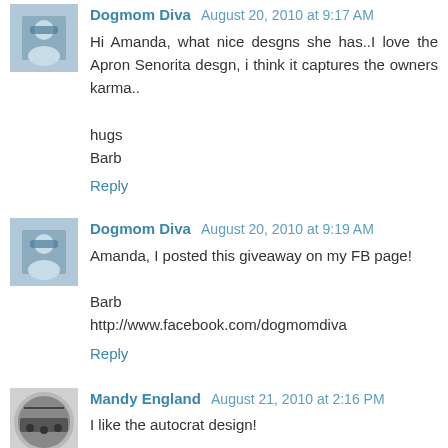[Figure (photo): Avatar photo of Dogmom Diva - person wearing sunglasses]
Dogmom Diva August 20, 2010 at 9:17 AM
Hi Amanda, what nice desgns she has..I love the Apron Senorita desgn, i think it captures the owners karma..

hugs
Barb
Reply
[Figure (photo): Avatar photo of Dogmom Diva - person wearing sunglasses]
Dogmom Diva August 20, 2010 at 9:19 AM
Amanda, I posted this giveaway on my FB page!

Barb
http://www.facebook.com/dogmomdiva
Reply
[Figure (photo): Avatar photo of Mandy England - cityscape logo]
Mandy England August 21, 2010 at 2:16 PM
I like the autocrat design!